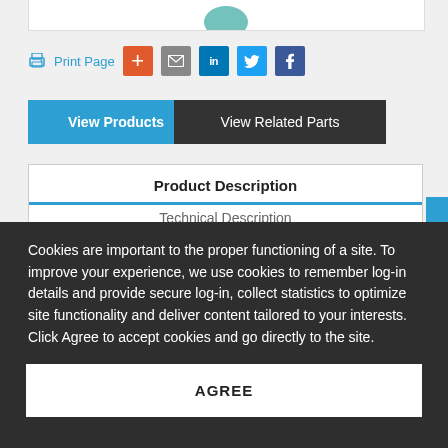[Figure (other): Partial view of a product image (teal/turquoise object) at the top of the page inside a white bordered box]
Print Page
[Figure (other): Social sharing buttons row: plus (+), email (envelope), LinkedIn (in), Twitter (bird), Facebook (f)]
View Products
View Related Parts
Product Description
Technical Description (partially visible, cut off)
Cookies are important to the proper functioning of a site. To improve your experience, we use cookies to remember log-in details and provide secure log-in, collect statistics to optimize site functionality and deliver content tailored to your interests. Click Agree to accept cookies and go directly to the site.
AGREE